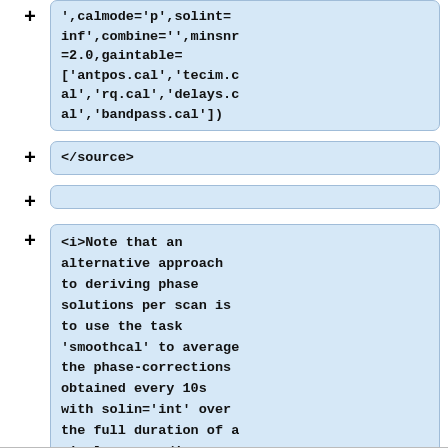',calmode='p',solint=inf',combine='',minsnr=2.0,gaintable=['antpos.cal','tecim.cal','rq.cal','delays.cal','bandpass.cal'])
</source>
<i>Note that an alternative approach to deriving phase solutions per scan is to use the task 'smoothcal' to average the phase-corrections obtained every 10s with solin='int' over the full duration of a single scan.</i>